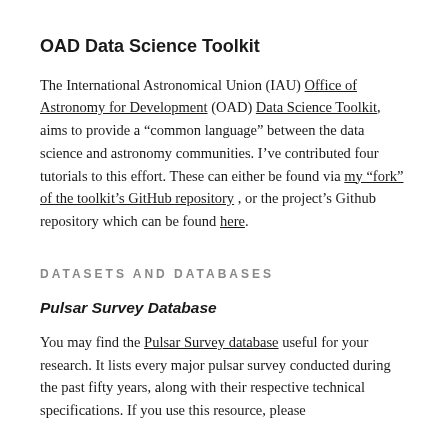OAD Data Science Toolkit
The International Astronomical Union (IAU) Office of Astronomy for Development (OAD) Data Science Toolkit, aims to provide a “common language” between the data science and astronomy communities. I’ve contributed four tutorials to this effort. These can either be found via my “fork” of the toolkit’s GitHub repository , or the project’s Github repository which can be found here.
DATASETS AND DATABASES
Pulsar Survey Database
You may find the Pulsar Survey database useful for your research. It lists every major pulsar survey conducted during the past fifty years, along with their respective technical specifications. If you use this resource, please